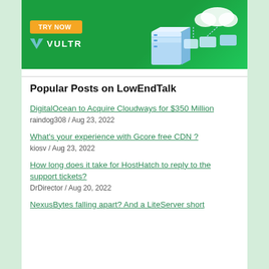[Figure (illustration): Vultr advertisement banner with green background, 'TRY NOW' orange button, Vultr logo with V icon and VULTR text, and cloud/server isometric graphics on the right]
Popular Posts on LowEndTalk
DigitalOcean to Acquire Cloudways for $350 Million
raindog308 / Aug 23, 2022
What's your experience with Gcore free CDN ?
kiosv / Aug 23, 2022
How long does it take for HostHatch to reply to the support tickets?
DrDirector / Aug 20, 2022
NexusBytes falling apart? And a LiteServer short...